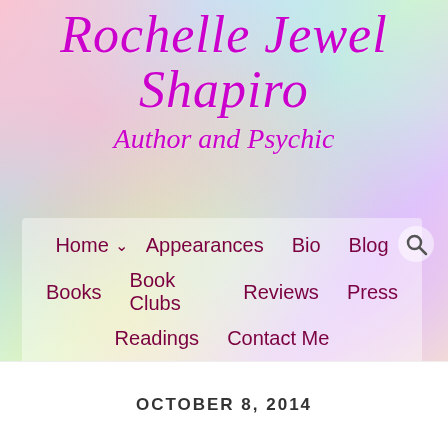Rochelle Jewel Shapiro
Author and Psychic
[Figure (screenshot): Navigation menu with semi-transparent white background containing links: Home (with dropdown arrow), Appearances, Bio, Blog, Books, Book Clubs, Reviews, Press, Readings, Contact Me. Search icon in upper right.]
OCTOBER 8, 2014